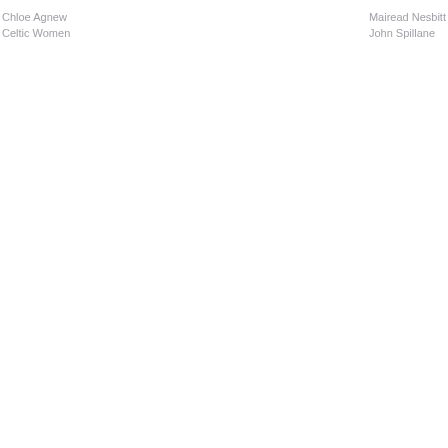Chloe Agnew
Celtic Women
Mairead Nesbitt
John Spillane